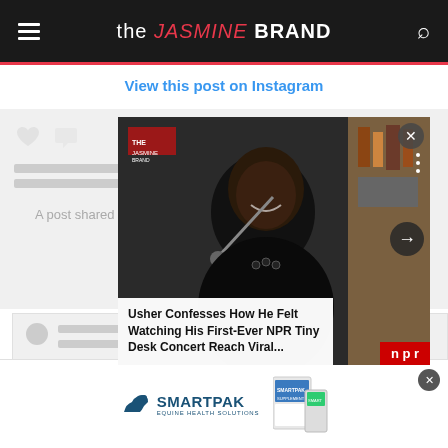the JASMINE BRAND
View this post on Instagram
A post shared
[Figure (screenshot): Video popup overlay showing a man smiling, with title: Usher Confesses How He Felt Watching His First-Ever NPR Tiny Desk Concert Reach Viral...]
[Figure (logo): SmartPak advertisement with logo and product image]